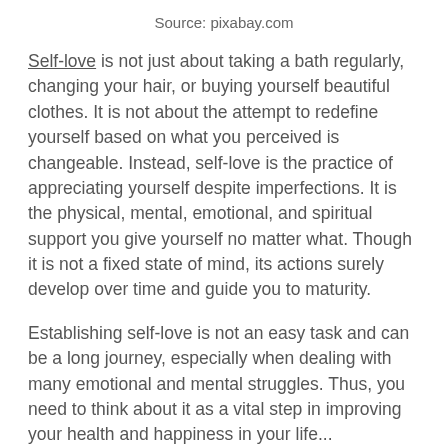Source: pixabay.com
Self-love is not just about taking a bath regularly, changing your hair, or buying yourself beautiful clothes. It is not about the attempt to redefine yourself based on what you perceived is changeable. Instead, self-love is the practice of appreciating yourself despite imperfections. It is the physical, mental, emotional, and spiritual support you give yourself no matter what. Though it is not a fixed state of mind, its actions surely develop over time and guide you to maturity.
Establishing self-love is not an easy task and can be a long journey, especially when dealing with many emotional and mental struggles. Thus, you need to think about it as a vital step in improving your health and happiness in your life...